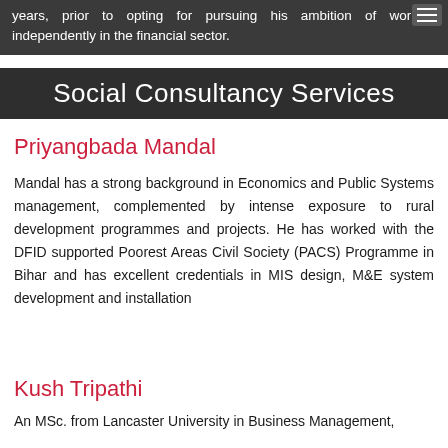years, prior to opting for pursuing his ambition of working independently in the financial sector.
Social Consultancy Services
Priyangbada Mandal
Mandal has a strong background in Economics and Public Systems management, complemented by intense exposure to rural development programmes and projects. He has worked with the DFID supported Poorest Areas Civil Society (PACS) Programme in Bihar and has excellent credentials in MIS design, M&E system development and installation
Kush Tripathi
An MSc. from Lancaster University in Business Management,